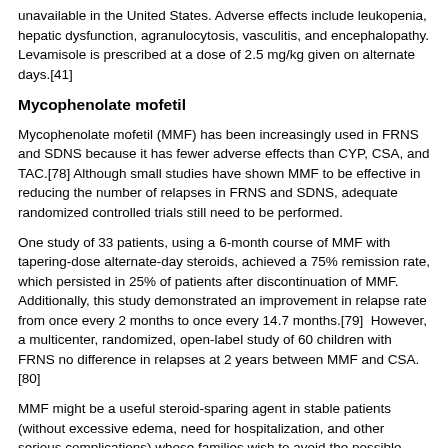unavailable in the United States. Adverse effects include leukopenia, hepatic dysfunction, agranulocytosis, vasculitis, and encephalopathy. Levamisole is prescribed at a dose of 2.5 mg/kg given on alternate days.[41]
Mycophenolate mofetil
Mycophenolate mofetil (MMF) has been increasingly used in FRNS and SDNS because it has fewer adverse effects than CYP, CSA, and TAC.[78] Although small studies have shown MMF to be effective in reducing the number of relapses in FRNS and SDNS, adequate randomized controlled trials still need to be performed.
One study of 33 patients, using a 6-month course of MMF with tapering-dose alternate-day steroids, achieved a 75% remission rate, which persisted in 25% of patients after discontinuation of MMF. Additionally, this study demonstrated an improvement in relapse rate from once every 2 months to once every 14.7 months.[79]  However, a multicenter, randomized, open-label study of 60 children with FRNS no difference in relapses at 2 years between MMF and CSA.[80]
MMF might be a useful steroid-sparing agent in stable patients (without excessive edema, need for hospitalization, and other serious complications) whose families wish to avoid the possible adverse effects of CYP, CSA, and TAC. However, the response to MMF varies and is less reliable than other treatments.
MMF is started at a dose of 600 mg/m2 twice daily. Complete blood cell counts should be monitored for bone marrow suppression, and liver function tests should occasionally be performed to monitor for hepatic toxicity.
MMF may be an effective and safe maintenance therapy to consider as an